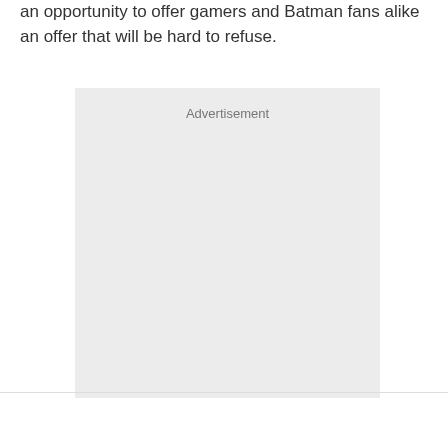an opportunity to offer gamers and Batman fans alike an offer that will be hard to refuse.
[Figure (other): Advertisement placeholder box with light gray background and 'Advertisement' label at the top center.]